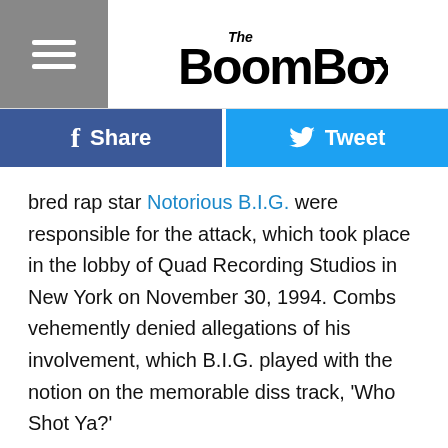The Boombox
bred rap star Notorious B.I.G. were responsible for the attack, which took place in the lobby of Quad Recording Studios in New York on November 30, 1994. Combs vehemently denied allegations of his involvement, which B.I.G. played with the notion on the memorable diss track, 'Who Shot Ya?'
According to Times reporter Chuck Phillips, the late B.I.G. – real name Christopher Wallace – and Combs were not involved in the actual planning of the ambush but were aware that Tupac was to be attacked. The newly discovered information claims Jimmy "Henchman" Rosemond – the